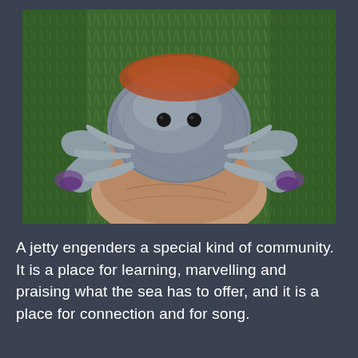[Figure (photo): A hand holding a crab from below. The crab has a rounded bluish-grey carapace with two dark eye spots visible, multiple legs, and two claws with purple-tipped ends. The background shows green grass.]
A jetty engenders a special kind of community. It is a place for learning, marvelling and praising what the sea has to offer, and it is a place for connection and for song.